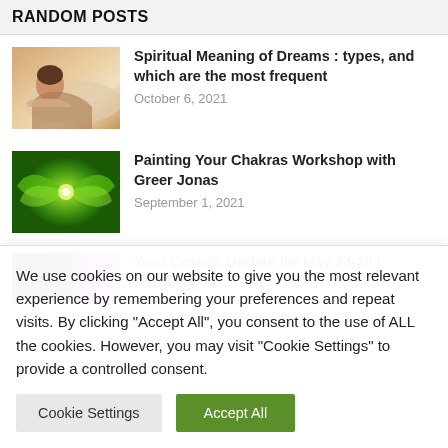RANDOM POSTS
Spiritual Meaning of Dreams : types, and which are the most frequent
October 6, 2021
Painting Your Chakras Workshop with Greer Jonas
September 1, 2021
Your Cosmic Update for May 24-20 | Astrology &
We use cookies on our website to give you the most relevant experience by remembering your preferences and repeat visits. By clicking "Accept All", you consent to the use of ALL the cookies. However, you may visit "Cookie Settings" to provide a controlled consent.